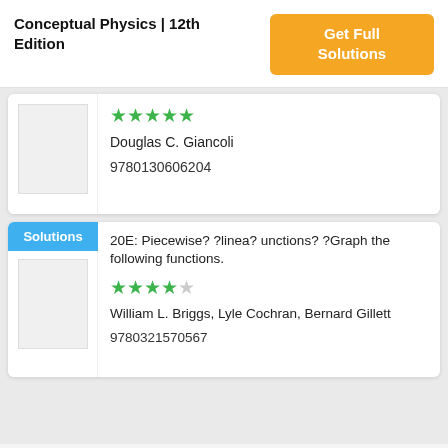Conceptual Physics | 12th Edition
Get Full Solutions
[Figure (other): Book cover thumbnail placeholder (white/gray box)]
★★★★★
Douglas C. Giancoli
9780130606204
Solutions
20E: Piecewise? ?linea? unctions? ?Graph the following functions.
★★★★☆
William L. Briggs, Lyle Cochran, Bernard Gillett
9780321570567